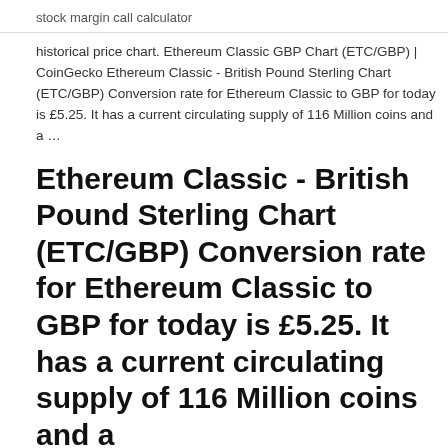stock margin call calculator
historical price chart. Ethereum Classic GBP Chart (ETC/GBP) | CoinGecko Ethereum Classic - British Pound Sterling Chart (ETC/GBP) Conversion rate for Ethereum Classic to GBP for today is £5.25. It has a current circulating supply of 116 Million coins and a …
Ethereum Classic - British Pound Sterling Chart (ETC/GBP) Conversion rate for Ethereum Classic to GBP for today is £5.25. It has a current circulating supply of 116 Million coins and a …
Ethereum / ETH price. Real-time & historical ETH data, exchange rates, charts, ATH, & market data priced in USD, JPY, KRW, EUR, etc. ETH-GBP Price - ETH-GBP Charts & History – EthereumPrice